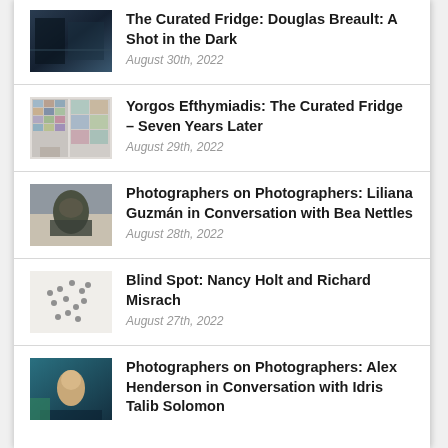The Curated Fridge: Douglas Breault: A Shot in the Dark
August 30th, 2022
Yorgos Efthymiadis: The Curated Fridge – Seven Years Later
August 29th, 2022
Photographers on Photographers: Liliana Guzmán in Conversation with Bea Nettles
August 28th, 2022
Blind Spot: Nancy Holt and Richard Misrach
August 27th, 2022
Photographers on Photographers: Alex Henderson in Conversation with Idris Talib Solomon